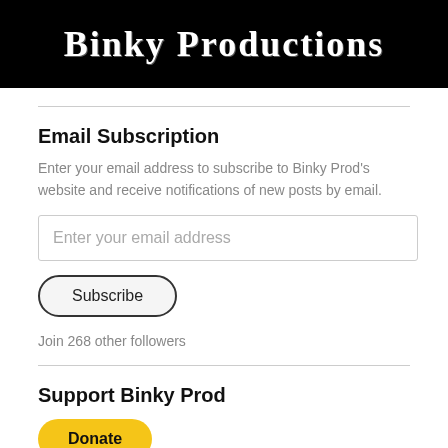[Figure (logo): Black banner with 'Binky Productions' in white Gothic/Old English style text]
Email Subscription
Enter your email address to subscribe to Binky Prod's website and receive notifications of new posts by email.
Enter your email address (input field)
Subscribe (button)
Join 268 other followers
Support Binky Prod
Donate (PayPal button)